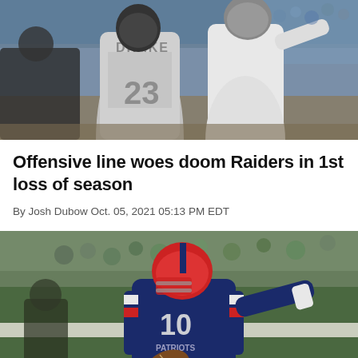[Figure (photo): NFL Raiders players on field, player wearing jersey number 23 with name DRAKE visible, and another player in white uniform pointing, stadium crowd in background]
Offensive line woes doom Raiders in 1st loss of season
By Josh Dubow Oct. 05, 2021 05:13 PM EDT
[Figure (photo): New England Patriots quarterback wearing number 10 jersey in navy blue uniform with red helmet, pointing with right hand while holding football, green field and stadium crowd in background]